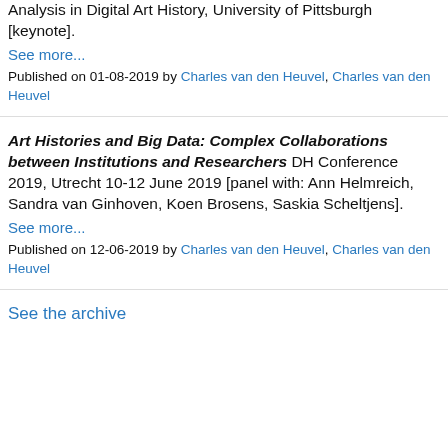Analysis in Digital Art History, University of Pittsburgh [keynote].
See more...
Published on 01-08-2019 by Charles van den Heuvel, Charles van den Heuvel
Art Histories and Big Data: Complex Collaborations between Institutions and Researchers DH Conference 2019, Utrecht 10-12 June 2019 [panel with: Ann Helmreich, Sandra van Ginhoven, Koen Brosens, Saskia Scheltjens].
See more...
Published on 12-06-2019 by Charles van den Heuvel, Charles van den Heuvel
See the archive